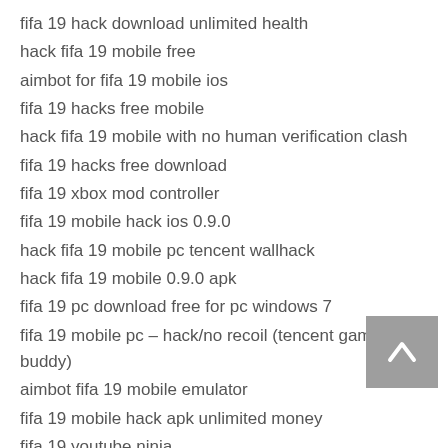fifa 19 hack download unlimited health
hack fifa 19 mobile free
aimbot for fifa 19 mobile ios
fifa 19 hacks free mobile
hack fifa 19 mobile with no human verification clash
fifa 19 hacks free download
fifa 19 xbox mod controller
fifa 19 mobile hack ios 0.9.0
hack fifa 19 mobile pc tencent wallhack
hack fifa 19 mobile 0.9.0 apk
fifa 19 pc download free for pc windows 7
fifa 19 mobile pc – hack/no recoil (tencent gaming buddy)
aimbot fifa 19 mobile emulator
fifa 19 mobile hack apk unlimited money
fifa 19 youtube ninja
fifa 19 hacker video